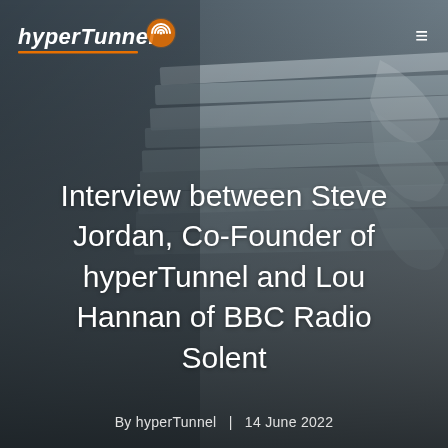[Figure (photo): Stack of folded newspapers in grayscale/blue-grey tones, serving as background image for an article header]
hyperTunnel [logo with orange wifi-like icon] ≡
Interview between Steve Jordan, Co-Founder of hyperTunnel and Lou Hannan of BBC Radio Solent
By hyperTunnel  |  14 June 2022